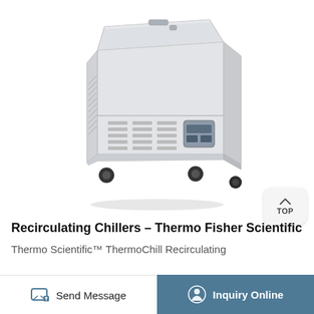[Figure (photo): Photograph of a Thermo Scientific ThermoC­hill Recirculating Chiller — a boxy white/light-grey laboratory chest-style chiller unit on black caster wheels, with ventilation grilles on the lower front panel and a small digital control panel on the lower right front.]
Recirculating Chillers – Thermo Fisher Scientific
Thermo Scientific™ ThermoC­hill Recirculating
Send Message
Inquiry Online